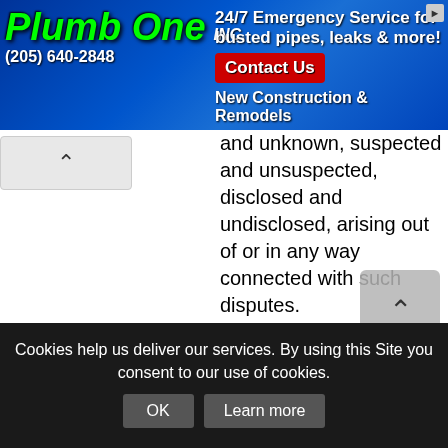[Figure (screenshot): Plumb One Inc. advertisement banner with blue gradient background, green stylized logo text, phone number (205) 640-2848, 24/7 Emergency Service contact button, and New Construction & Remodels tagline]
[Figure (screenshot): Browser navigation back/up arrow button in a rounded rectangle]
and unknown, suspected and unsuspected, disclosed and undisclosed, arising out of or in any way connected with such disputes.
Lacartes, for the benefit of users, may try to help users resolve disputes. Lacartes does so in its sole discretion, and it has no obligation to resolve disputes between users or between users and outside parties. To the extent that Lacartes attem... resolve disputes, it will do so in... based solely on...
Cookies help us deliver our services. By using this Site you consent to our use of cookies.